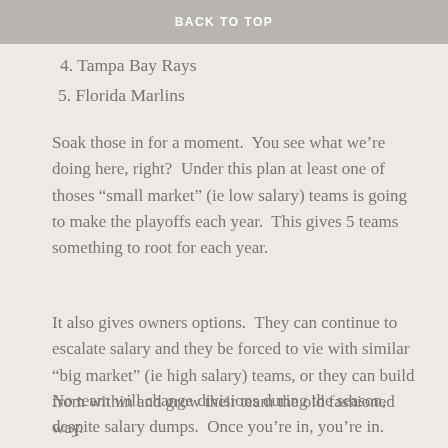2. Pittsburgh Pirates
3. Oakland A’s
BACK TO TOP
4. Tampa Bay Rays
5. Florida Marlins
Soak those in for a moment.  You see what we’re doing here, right?  Under this plan at least one of thoses “small market” (ie low salary) teams is going to make the playoffs each year.  This gives 5 teams something to root for each year.
It also gives owners options.  They can continue to escalate salary and they be forced to vie with similar “big market” (ie high salary) teams, or they can build from within and grow their team the old fashioned way.
No team will change divisions during the season, despite salary dumps.  Once you’re in, you’re in.